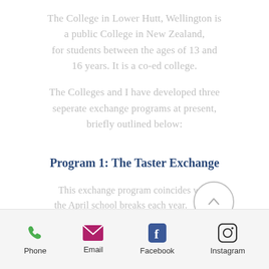The College in Lower Hutt, Wellington is a public College in New Zealand, for students between the ages of 13 and 16 years. It is a co-ed college.
The Colleges and I have developed three seperate exchange programs at present, briefly outlined below:
Program 1: The Taster Exchange
This exchange program coincides with the April school breaks each year. Students arrive in NZ a week before the holidays and stay for 15 days in NZ
Phone | Email | Facebook | Instagram